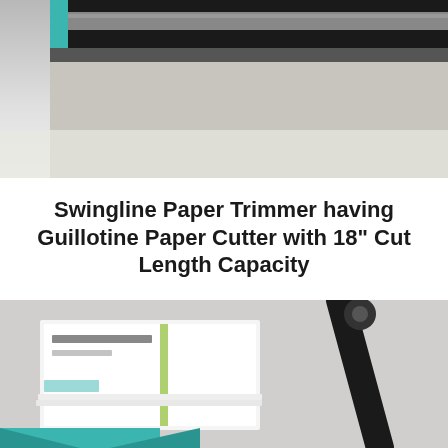[Figure (photo): Close-up photo of a Swingline paper trimmer/guillotine cutter showing the dark blade and gray cutting surface against a white background.]
Swingline Paper Trimmer having Guillotine Paper Cutter with 18" Cut Length Capacity
Paper cutters can fundamentally decrease the measure of time needed to cut paper, photos, and …
CONTINUE READING →
[Figure (photo): Photo of a stack of business cards and paper being cut by a guillotine paper cutter, with teal/turquoise accents visible at the bottom edge.]